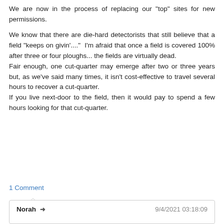We are now in the process of replacing our "top" sites for new permissions.
We know that there are die-hard detectorists that still believe that a field "keeps on givin'...."  I'm afraid that once a field is covered 100% after three or four ploughs... the fields are virtually dead. Fair enough, one cut-quarter may emerge after two or three years but, as we've said many times, it isn't cost-effective to travel several hours to recover a cut-quarter. If you live next-door to the field, then it would pay to spend a few hours looking for that cut-quarter.
1 Comment
Norah → 9/4/2021 03:18:09